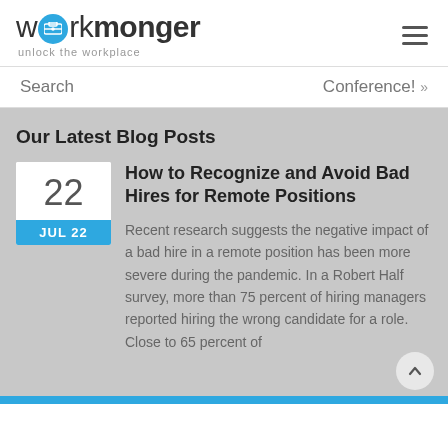[Figure (logo): Workmonger logo with briefcase icon and tagline 'unlock the workplace']
Search   Conference! »
Our Latest Blog Posts
How to Recognize and Avoid Bad Hires for Remote Positions
Recent research suggests the negative impact of a bad hire in a remote position has been more severe during the pandemic. In a Robert Half survey, more than 75 percent of hiring managers reported hiring the wrong candidate for a role. Close to 65 percent of